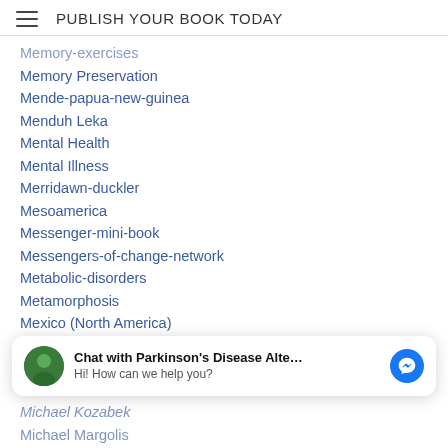PUBLISH YOUR BOOK TODAY
Memory-exercises
Memory Preservation
Mende-papua-new-guinea
Menduh Leka
Mental Health
Mental Illness
Merridawn-duckler
Mesoamerica
Messenger-mini-book
Messengers-of-change-network
Metabolic-disorders
Metamorphosis
Mexico (North America)
Michael-estabrook
Chat with Parkinson's Disease Alte... Hi! How can we help you?
Michael Kozabek
Michael Margolis